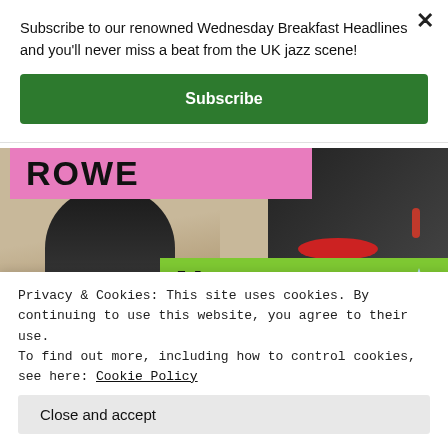Subscribe to our renowned Wednesday Breakfast Headlines and you'll never miss a beat from the UK jazz scene!
Subscribe
[Figure (photo): Concert/event promotional poster showing artist Wayne Hernandez. Left side shows a man in a black jacket and white shirt, with a pink banner reading 'ROWE' at the top. Right side shows a close-up of a woman's face with red lipstick and a red earring. A green banner in the lower right reads 'Wayne Hernandez' in italic and bold text, with a light blue star graphic.]
Privacy & Cookies: This site uses cookies. By continuing to use this website, you agree to their use.
To find out more, including how to control cookies, see here: Cookie Policy
Close and accept